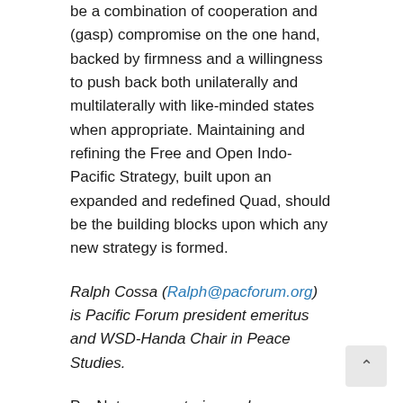be a combination of cooperation and (gasp) compromise on the one hand, backed by firmness and a willingness to push back both unilaterally and multilaterally with like-minded states when appropriate. Maintaining and refining the Free and Open Indo-Pacific Strategy, built upon an expanded and redefined Quad, should be the building blocks upon which any new strategy is formed.
Ralph Cossa (Ralph@pacforum.org) is Pacific Forum president emeritus and WSD-Handa Chair in Peace Studies.
PacNet commentaries and responses represent the views of the respective authors. Alternative viewpoints are always welcomed and encouraged. Click here to request a PacNet subscription.